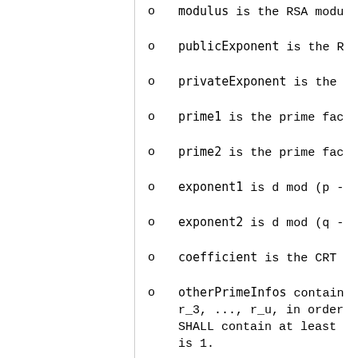o   modulus is the RSA modu
o   publicExponent is the R
o   privateExponent is the
o   prime1 is the prime fac
o   prime2 is the prime fac
o   exponent1 is d mod (p -
o   exponent2 is d mod (q -
o   coefficient is the CRT
o   otherPrimeInfos contains r_3, ..., r_u, in order SHALL contain at least is 1.